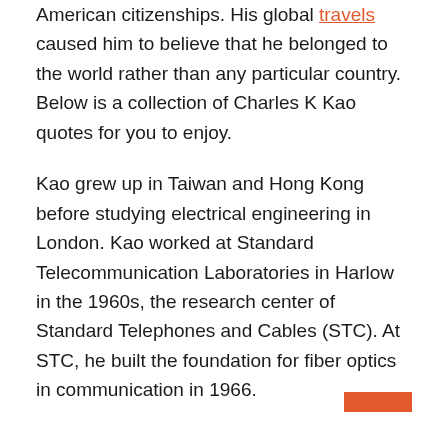American citizenships. His global travels caused him to believe that he belonged to the world rather than any particular country. Below is a collection of Charles K Kao quotes for you to enjoy.

Kao grew up in Taiwan and Hong Kong before studying electrical engineering in London. Kao worked at Standard Telecommunication Laboratories in Harlow in the 1960s, the research center of Standard Telephones and Cables (STC). At STC, he built the foundation for fiber optics in communication in 1966.